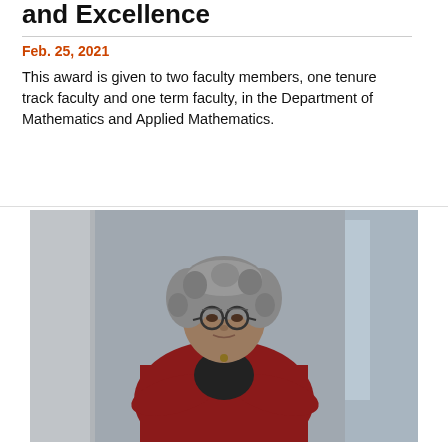and Excellence
Feb. 25, 2021
This award is given to two faculty members, one tenure track faculty and one term faculty, in the Department of Mathematics and Applied Mathematics.
[Figure (photo): Portrait photo of a woman with gray curly hair and glasses, wearing a red blazer, arms crossed, standing in front of a building interior with columns and windows.]